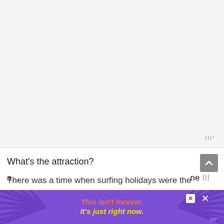[Figure (photo): Large image area, appears blank/white — likely a photo that did not fully load, occupying the top portion of the page.]
What's the attraction?
There was a time when surfing holidays were the preserve of laid-back dudes with a VW campervan, bleached blonde hair and a ...
[Figure (infographic): Advertisement banner with purple/violet starburst background. Text reads: 'This isn't forever. It's just right now.' with close buttons and branding.]